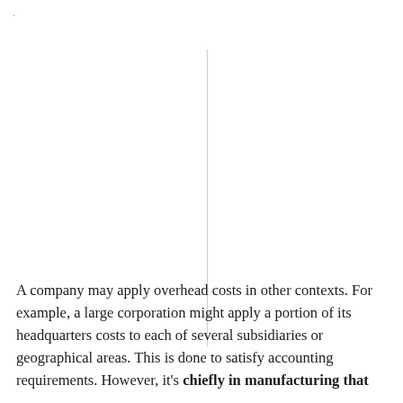.
[Figure (other): A vertical light blue line dividing the upper portion of the page]
A company may apply overhead costs in other contexts. For example, a large corporation might apply a portion of its headquarters costs to each of several subsidiaries or geographical areas. This is done to satisfy accounting requirements. However, it's chiefly in manufacturing that